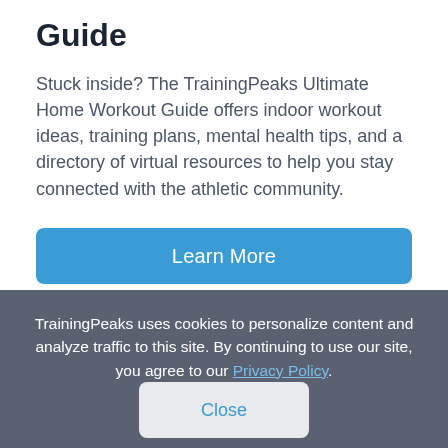Guide
Stuck inside? The TrainingPeaks Ultimate Home Workout Guide offers indoor workout ideas, training plans, mental health tips, and a directory of virtual resources to help you stay connected with the athletic community.
Learn More
TrainingPeaks uses cookies to personalize content and analyze traffic to this site. By continuing to use our site, you agree to our Privacy Policy.
Close